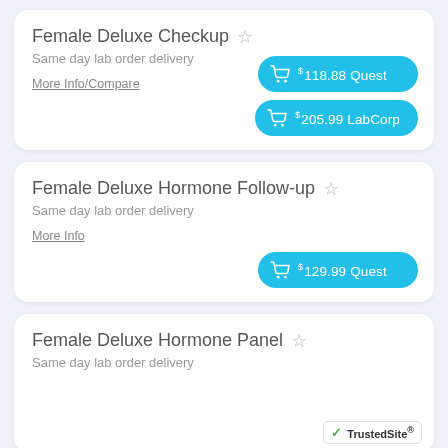Female Deluxe Checkup
Same day lab order delivery
More Info/Compare
$118.88 Quest
$205.99 LabCorp
Female Deluxe Hormone Follow-up
Same day lab order delivery
More Info
$129.99 Quest
Female Deluxe Hormone Panel
Same day lab order delivery